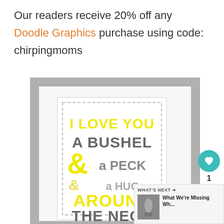Our readers receive 20% off any Doodle Graphics purchase using code: chirpingmoms
[Figure (photo): A framed art print with dashed border reading 'I LOVE YOU A BUSHEL & a PECK & a HUG AROUND THE NECK' in yellow and gray bold typography, displayed on a gray mat background.]